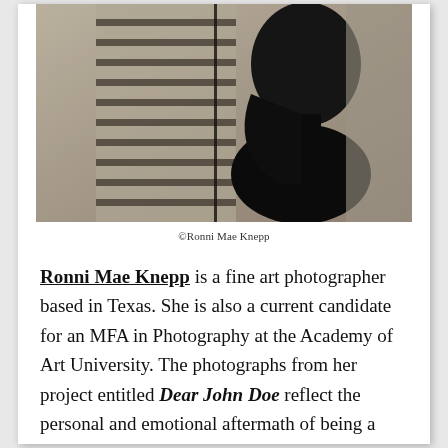[Figure (photo): Black and white photograph of a person's silhouette/profile against window blinds, high contrast artistic portrait]
©Ronni Mae Knepp
Ronni Mae Knepp is a fine art photographer based in Texas. She is also a current candidate for an MFA in Photography at the Academy of Art University. The photographs from her project entitled Dear John Doe reflect the personal and emotional aftermath of being a victim of rape. What initially